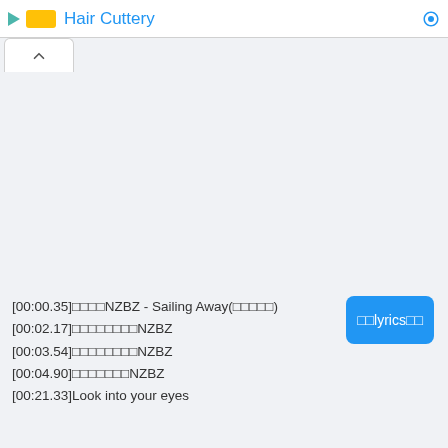Hair Cuttery
[00:00.35]□□□□NZBZ - Sailing Away(□□□□□)
[00:02.17]□□□□□□□□NZBZ
[00:03.54]□□□□□□□□NZBZ
[00:04.90]□□□□□□□NZBZ
[00:21.33]Look into your eyes
□□lyrics□□